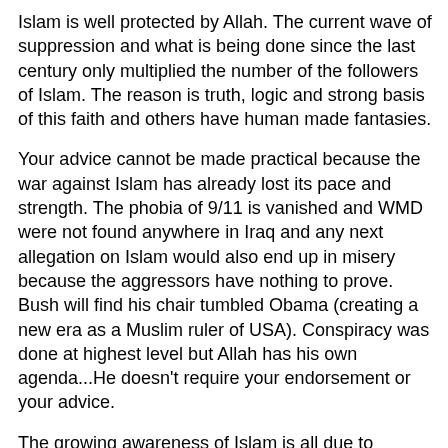Islam is well protected by Allah. The current wave of suppression and what is being done since the last century only multiplied the number of the followers of Islam. The reason is truth, logic and strong basis of this faith and others have human made fantasies.
Your advice cannot be made practical because the war against Islam has already lost its pace and strength. The phobia of 9/11 is vanished and WMD were not found anywhere in Iraq and any next allegation on Islam would also end up in misery because the aggressors have nothing to prove. Bush will find his chair tumbled Obama (creating a new era as a Muslim ruler of USA). Conspiracy was done at highest level but Allah has his own agenda...He doesn't require your endorsement or your advice.
The growing awareness of Islam is all due to continuous posing of threat by the Infidels like you. Now it is very easy for a street walking Muslim to defeat a non believer when it comes to proving the authenticity of faith. I know it hurts because you yourself if following a religion which has shameful History attached. The rtiual of Satti (burning Widow alive with her dead husband), Cast system like Braham (highest) and Dallat or Achhoot (the deprived and lowest ones) which is still strictly observed in your own